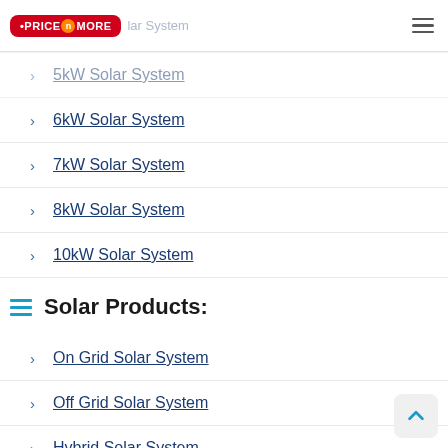Price n More | Solar System
5kW Solar System
6kW Solar System
7kW Solar System
8kW Solar System
10kW Solar System
Solar Products:
On Grid Solar System
Off Grid Solar System
Hybrid Solar System
Commercial Solar System
1MW Solar Power Plant